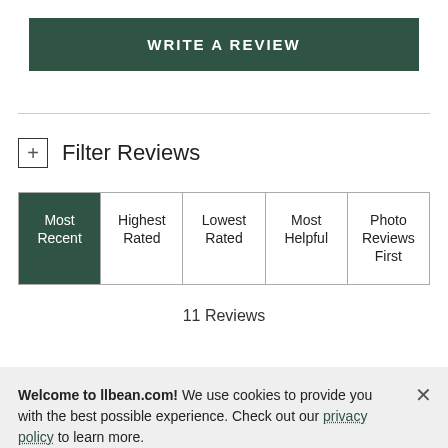WRITE A REVIEW
+ Filter Reviews
| Most Recent | Highest Rated | Lowest Rated | Most Helpful | Photo Reviews First |
| --- | --- | --- | --- | --- |
11 Reviews
Welcome to llbean.com! We use cookies to provide you with the best possible experience. Check out our privacy policy to learn more.